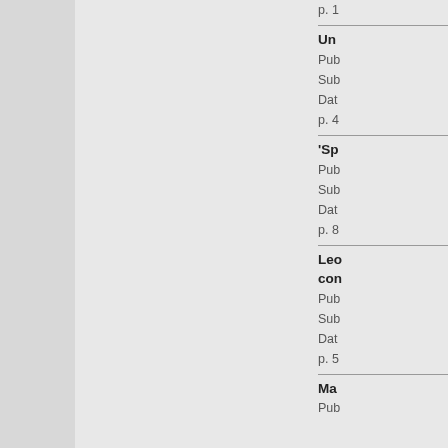p. 1
Un...
Pub...
Sub...
Dat...
p. 4
'Sp...
Pub...
Sub...
Dat...
p. 8
Leo con...
Pub...
Sub...
Dat...
p. 5
Ma...
Pub...